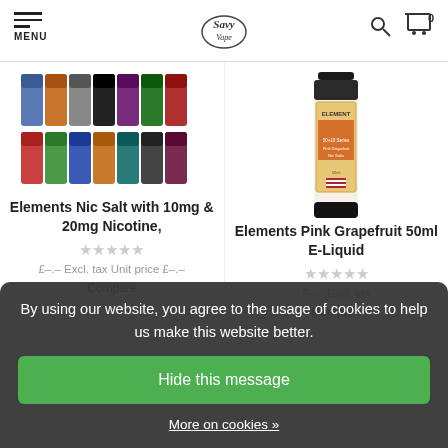MENU | Savy Vape Logo | Search | Cart 0
[Figure (photo): Elements Nic Salt e-liquid bottles collection, multiple flavours arranged in two rows]
[Figure (photo): Elements Pink Grapefruit 50+10 Series 50ml E-Liquid bottle]
Elements Nic Salt with 10mg & 20mg Nicotine,
Elements Pink Grapefruit 50ml E-Liquid
£–.– Excl. tax Unit price £–.–
£–.– Excl. tax
Compare
Compare
By using our website, you agree to the usage of cookies to help us make this website better.
Hide this message
More on cookies »